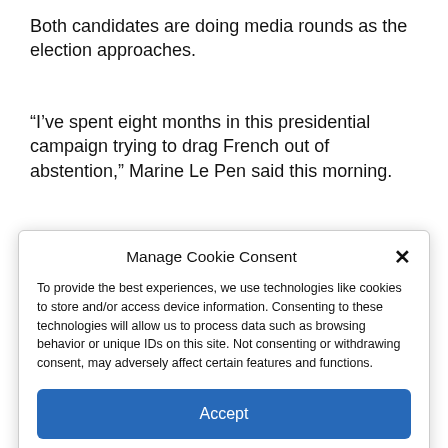Both candidates are doing media rounds as the election approaches.
“I’ve spent eight months in this presidential campaign trying to drag French out of abstention,” Marine Le Pen said this morning.
Manage Cookie Consent
To provide the best experiences, we use technologies like cookies to store and/or access device information. Consenting to these technologies will allow us to process data such as browsing behavior or unique IDs on this site. Not consenting or withdrawing consent, may adversely affect certain features and functions.
Accept
Cookie Policy